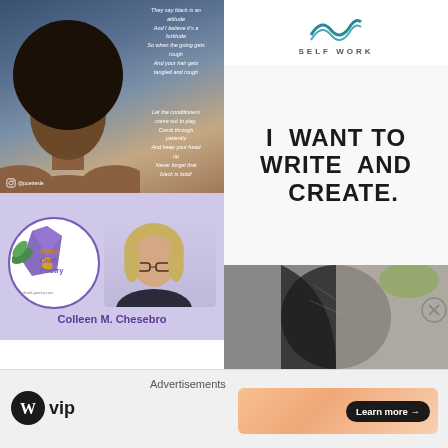[Figure (photo): Photo of a Black woman with a natural afro hairstyle against a blue background, with italic poem text overlay about black being bold]
[Figure (photo): WordCraft Poetry logo circle with Colleen M. Chesebro photo on lavender background]
[Figure (illustration): Self Work logo with teal wave graphic on white background]
[Figure (illustration): Handwritten-style text on white background reading 'I WANT TO WRITE AND CREATE.']
[Figure (photo): Dark abstract photo of a face/head in black and white]
Advertisements
[Figure (logo): WordPress VIP logo (W circle icon + VIP text)]
[Figure (illustration): Gradient orange/peach banner advertisement with 'Learn more →' button]